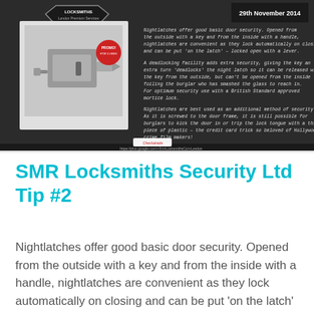[Figure (infographic): Dark chalkboard-style infographic from SMR Locksmiths London Premium Services dated 29th November 2014. Shows a nightlatch lock image on the left and handwritten-style text describing nightlatches and deadlocking facilities on the right.]
SMR Locksmiths Security Ltd Tip #2
Nightlatches offer good basic door security. Opened from the outside with a key and from the inside with a handle, nightlatches are convenient as they lock automatically on closing and can be put 'on the latch' – locked open with a lever. A deadlocking facility adds extra security; giving the key an extra turn 'deadlocks the [...]